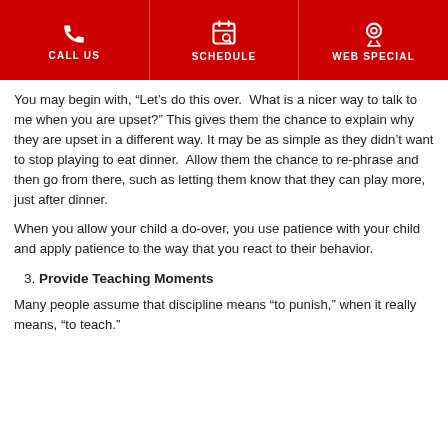CALL US | SCHEDULE | WEB SPECIAL
You may begin with, “Let’s do this over.  What is a nicer way to talk to me when you are upset?” This gives them the chance to explain why they are upset in a different way. It may be as simple as they didn’t want to stop playing to eat dinner.  Allow them the chance to re-phrase and then go from there, such as letting them know that they can play more, just after dinner.
When you allow your child a do-over, you use patience with your child and apply patience to the way that you react to their behavior.
3. Provide Teaching Moments
Many people assume that discipline means “to punish,” when it really means, “to teach.”